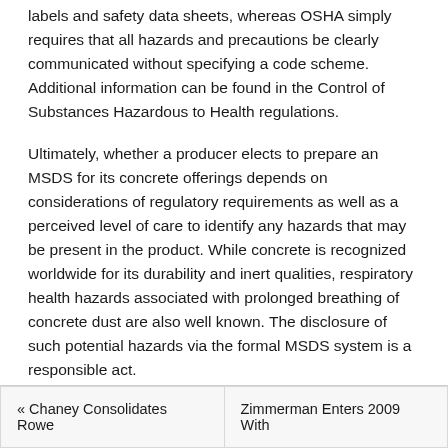labels and safety data sheets, whereas OSHA simply requires that all hazards and precautions be clearly communicated without specifying a code scheme. Additional information can be found in the Control of Substances Hazardous to Health regulations.
Ultimately, whether a producer elects to prepare an MSDS for its concrete offerings depends on considerations of regulatory requirements as well as a perceived level of care to identify any hazards that may be present in the product. While concrete is recognized worldwide for its durability and inert qualities, respiratory health hazards associated with prolonged breathing of concrete dust are also well known. The disclosure of such potential hazards via the formal MSDS system is a responsible act.
Concrete Currents
« Chaney Consolidates Rowe
Zimmerman Enters 2009 With